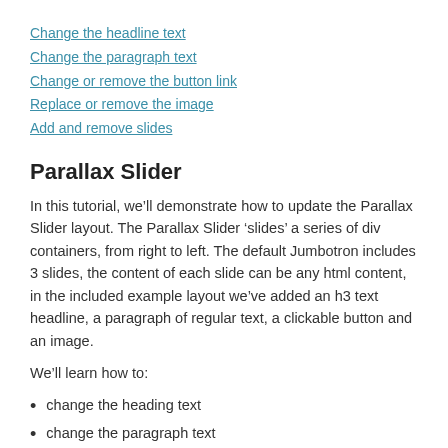Change the headline text
Change the paragraph text
Change or remove the button link
Replace or remove the image
Add and remove slides
Parallax Slider
In this tutorial, we’ll demonstrate how to update the Parallax Slider layout. The Parallax Slider ‘slides’ a series of div containers, from right to left. The default Jumbotron includes 3 slides, the content of each slide can be any html content, in the included example layout we’ve added an h3 text headline, a paragraph of regular text, a clickable button and an image.
We’ll learn how to:
change the heading text
change the paragraph text